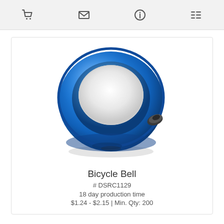[navigation icons: cart, envelope, info, list]
[Figure (photo): A blue metallic bicycle bell with a white circular pad on top and a black rubber lever on the right side, viewed from above at a slight angle.]
Bicycle Bell
# DSRC1129
18 day production time
$1.24 - $2.15 | Min. Qty: 200